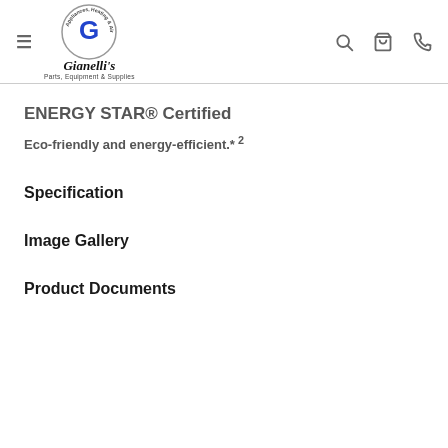Gianelli's Parts, Equipment & Supplies — navigation header with logo, search, cart, and phone icons
ENERGY STAR® Certified
Eco-friendly and energy-efficient.* 2
Specification
Image Gallery
Product Documents